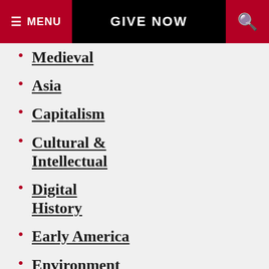MENU | GIVE NOW | [search]
Medieval
Asia
Capitalism
Cultural & Intellectual
Digital History
Early America
Environment & Agriculture
Europe–Early Modern
Europe–Modern
Film and...